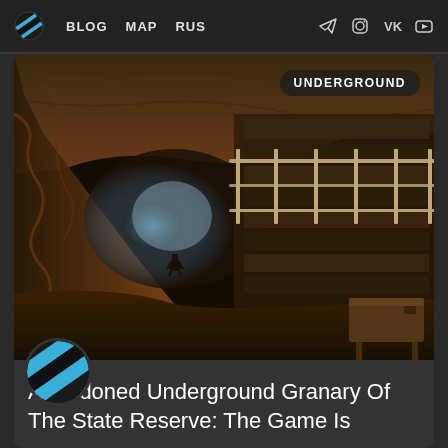BLOG  MAP  RUS
[Figure (photo): Dark underground tunnel with rough stone walls, metal railings on the right side, a lone figure silhouetted in the distant bluish light. A wooden bench or object sits in the foreground right.]
UNDERGROUND
[Figure (logo): Circular logo with diagonal cyan and black stripes]
Abandoned Underground Granary Of The State Reserve: The Game Is